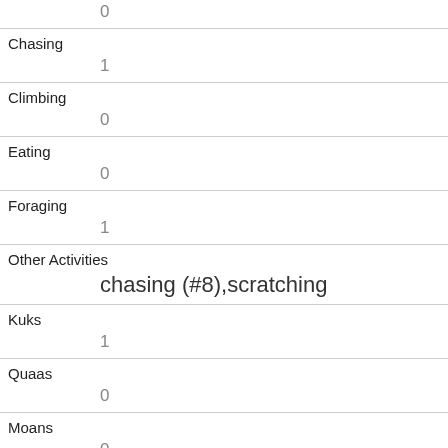|  | 0 |
| Chasing | 1 |
| Climbing | 0 |
| Eating | 0 |
| Foraging | 1 |
| Other Activities | chasing (#8),scratching |
| Kuks | 1 |
| Quaas | 0 |
| Moans | 0 |
| Tail flags | 0 |
| Tail twitches | 1 |